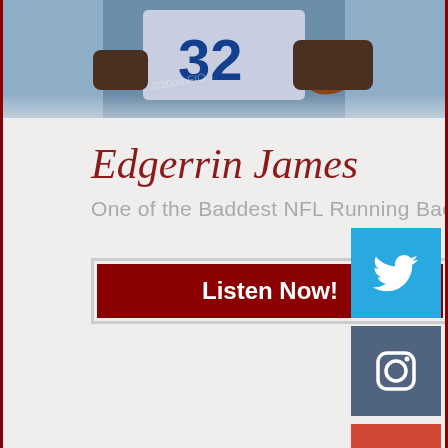[Figure (photo): Football player wearing jersey number 32 holding a football, partial body shot from torso down]
Edgerrin James
One of the Baddest NFL Running Backs
[Figure (infographic): Dark red Listen Now! button]
[Figure (infographic): Twitter social media icon button (blue)]
[Figure (infographic): Instagram social media icon button (slate blue)]
[Figure (infographic): Google Plus social media icon button (red-orange)]
[Figure (photo): Two people or statues visible in background, partial view at bottom of page]
LISTEN TO LATEST EPISODE NOW!